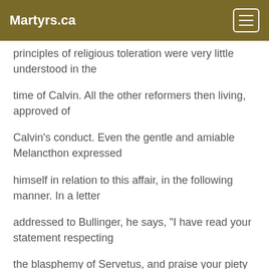Martyrs.ca
principles of religious toleration were very little understood in the
time of Calvin. All the other reformers then living, approved of
Calvin's conduct. Even the gentle and amiable Melancthon expressed
himself in relation to this affair, in the following manner. In a letter
addressed to Bullinger, he says, "I have read your statement respecting
the blasphemy of Servetus, and praise your piety and judgment; and am